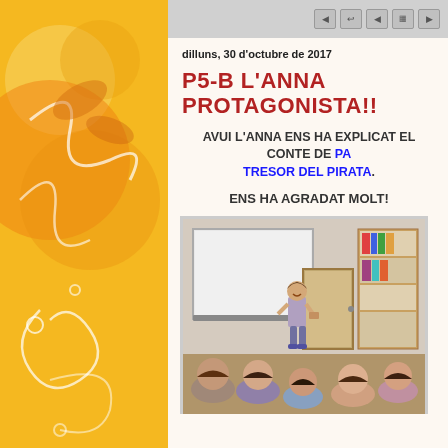[Figure (illustration): Decorative orange/yellow sidebar with swirl patterns on left side of page]
Navigation bar with browsing buttons
dilluns, 30 d'octubre de 2017
P5-B L'ANNA PROTAGONISTA!!
AVUI L'ANNA ENS HA EXPLICAT EL CONTE DE PA... TRESOR DEL PIRATA.
ENS HA AGRADAT MOLT!
[Figure (photo): Classroom photo showing a girl standing and presenting in front of seated children, with a whiteboard and bookshelf in the background]